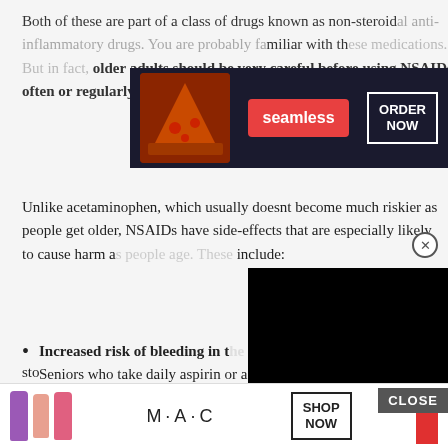Both of these are part of a class of drugs known as non-steroidal anti-inflammatory drugs (NSAIDs). You are probably familiar with these medications. But in fact, older adults should be very careful before using NSAIDs often or regularly.
[Figure (screenshot): Seamless food delivery advertisement banner with pizza image, 'seamless' logo in red, and 'ORDER NOW' button]
Unlike acetaminophen, which usually doesnt become much riskier as people get older, NSAIDs have side-effects that are especially likely to cause harm as people age. These include:
[Figure (screenshot): Black video/overlay rectangle blocking part of the content]
Increased risk of bleeding in the stomach and colon. Seniors who take daily aspirin or a blood-thinner are at especially high risk.
Problems with the stomach lining, which can cause stomach ulcers and stomach bleeding.
[Figure (screenshot): MAC cosmetics advertisement banner at the bottom with lipstick products and 'SHOP NOW' button]